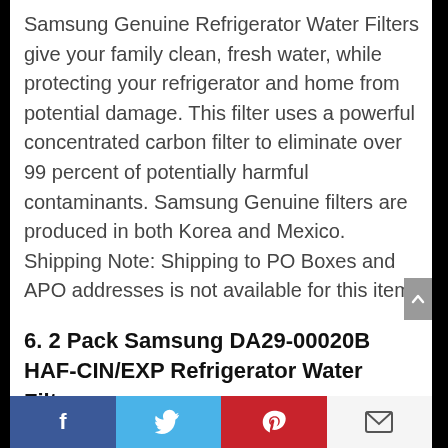Samsung Genuine Refrigerator Water Filters give your family clean, fresh water, while protecting your refrigerator and home from potential damage. This filter uses a powerful concentrated carbon filter to eliminate over 99 percent of potentially harmful contaminants. Samsung Genuine filters are produced in both Korea and Mexico. Shipping Note: Shipping to PO Boxes and APO addresses is not available for this item.
6. 2 Pack Samsung DA29-00020B HAF-CIN/EXP Refrigerator Water Filter
[Figure (infographic): Social media share bar at bottom with Facebook, Twitter, Pinterest, and email icons]